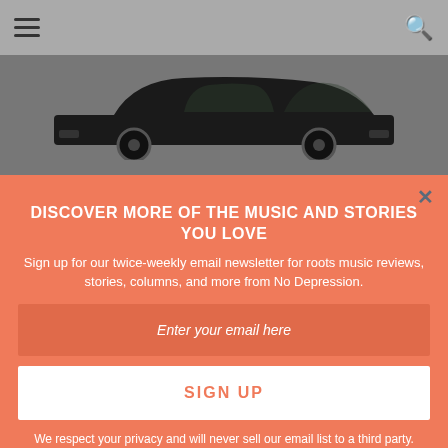[Figure (screenshot): Mobile app screenshot showing a music playlist page for No Depression with a newsletter signup overlay. Top nav bar with hamburger menu and search icon. Car image (classic black car) partially visible behind overlay. Dark background list showing track items including 'John Prine's Cadillac' by Will Hoge (3:21) and 'Hard Working Man' by Marcus King (3:37).]
DISCOVER MORE OF THE MUSIC AND STORIES YOU LOVE
Sign up for our twice-weekly email newsletter for roots music reviews, stories, columns, and more from No Depression.
Enter your email here
SIGN UP
We respect your privacy and will never sell our email list to a third party.
3   John Prine's Cadillac   Will Hoge   3:21
4   Hard Working Man   Marcus King   3:37